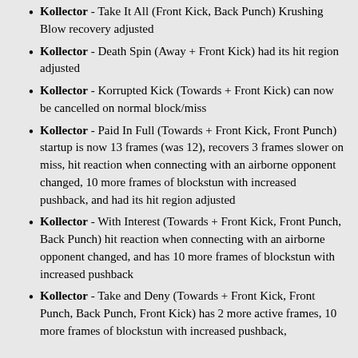Kollector - Take It All (Front Kick, Back Punch) Krushing Blow recovery adjusted
Kollector - Death Spin (Away + Front Kick) had its hit region adjusted
Kollector - Korrupted Kick (Towards + Front Kick) can now be cancelled on normal block/miss
Kollector - Paid In Full (Towards + Front Kick, Front Punch) startup is now 13 frames (was 12), recovers 3 frames slower on miss, hit reaction when connecting with an airborne opponent changed, 10 more frames of blockstun with increased pushback, and had its hit region adjusted
Kollector - With Interest (Towards + Front Kick, Front Punch, Back Punch) hit reaction when connecting with an airborne opponent changed, and has 10 more frames of blockstun with increased pushback
Kollector - Take and Deny (Towards + Front Kick, Front Punch, Back Punch, Front Kick) has 2 more active frames, 10 more frames of blockstun with increased pushback,